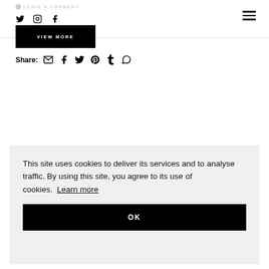LEAVE A COMMENT
[Figure (screenshot): Social media icons: Twitter, Instagram, Facebook in page header top-left; hamburger menu icon top-right]
[Figure (screenshot): VIEW MORE button - black rectangle with white text]
Share:
[Figure (screenshot): Share icons: email, Facebook, Twitter, Pinterest, Tumblr, WhatsApp]
This site uses cookies to deliver its services and to analyse traffic. By using this site, you agree to its use of cookies. Learn more
OK